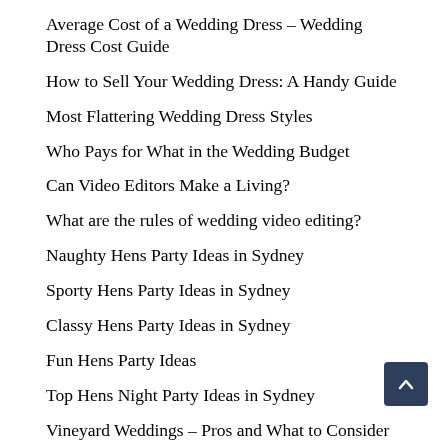Average Cost of a Wedding Dress – Wedding Dress Cost Guide
How to Sell Your Wedding Dress: A Handy Guide
Most Flattering Wedding Dress Styles
Who Pays for What in the Wedding Budget
Can Video Editors Make a Living?
What are the rules of wedding video editing?
Naughty Hens Party Ideas in Sydney
Sporty Hens Party Ideas in Sydney
Classy Hens Party Ideas in Sydney
Fun Hens Party Ideas
Top Hens Night Party Ideas in Sydney
Vineyard Weddings – Pros and What to Consider